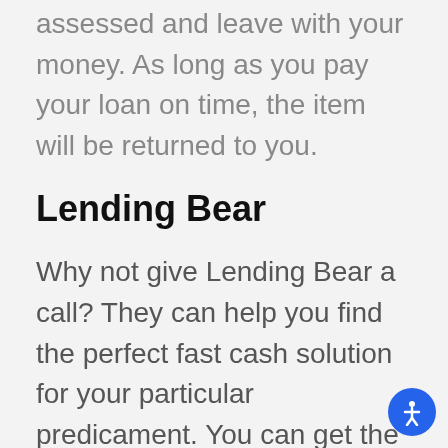assessed and leave with your money. As long as you pay your loan on time, the item will be returned to you.
Lending Bear
Why not give Lending Bear a call? They can help you find the perfect fast cash solution for your particular predicament. You can get the money you need fast and without a traditional credit check.
Check their website for a location near you and...